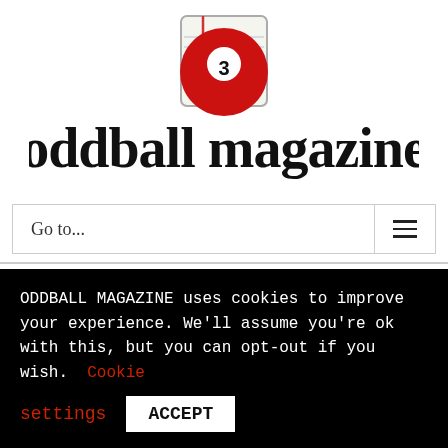[Figure (logo): Oddball Magazine logo: text 'oddball magazine' in bold serif font with a red billiard ball (number 3) in the center, and a notepad icon above the ball]
Go to...
money lying in the streets of economic detention your economy your economy your economy con me commie! Your
ODDBALL MAGAZINE uses cookies to improve your experience. We'll assume you're ok with this, but you can opt-out if you wish. Cookie settings ACCEPT